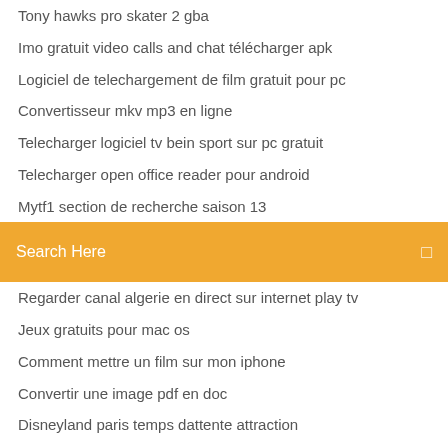Tony hawks pro skater 2 gba
Imo gratuit video calls and chat télécharger apk
Logiciel de telechargement de film gratuit pour pc
Convertisseur mkv mp3 en ligne
Telecharger logiciel tv bein sport sur pc gratuit
Telecharger open office reader pour android
Mytf1 section de recherche saison 13
Search Here
Regarder canal algerie en direct sur internet play tv
Jeux gratuits pour mac os
Comment mettre un film sur mon iphone
Convertir une image pdf en doc
Disneyland paris temps dattente attraction
Comment faire des smiley sur iphone 4
Wifi hotspot software for pc windows 8 gratuit télécharger
Regarder toutes les chaines marocaines en direct gratuitement
Regarder la tv sur tablette avec sosh